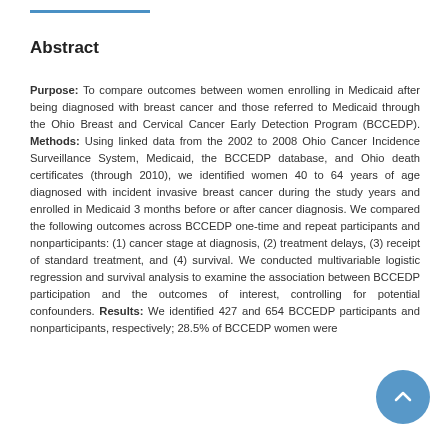Abstract
Purpose: To compare outcomes between women enrolling in Medicaid after being diagnosed with breast cancer and those referred to Medicaid through the Ohio Breast and Cervical Cancer Early Detection Program (BCCEDP). Methods: Using linked data from the 2002 to 2008 Ohio Cancer Incidence Surveillance System, Medicaid, the BCCEDP database, and Ohio death certificates (through 2010), we identified women 40 to 64 years of age diagnosed with incident invasive breast cancer during the study years and enrolled in Medicaid 3 months before or after cancer diagnosis. We compared the following outcomes across BCCEDP one-time and repeat participants and nonparticipants: (1) cancer stage at diagnosis, (2) treatment delays, (3) receipt of standard treatment, and (4) survival. We conducted multivariable logistic regression and survival analysis to examine the association between BCCEDP participation and the outcomes of interest, controlling for potential confounders. Results: We identified 427 and 654 BCCEDP participants and nonparticipants, respectively; 28.5% of BCCEDP women were